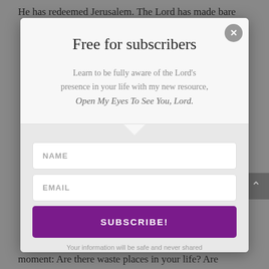He has redeemed Jerusalem. The Lord has made bare
[Figure (screenshot): Modal popup overlay with white top section showing title and description, gray bottom section with name and email input fields, a purple subscribe button, and a close X button in top right corner]
Free for subscribers
Learn to be fully aware of the Lord's presence in your life with my new resource, Open My Eyes To See You, Lord.
NAME
EMAIL
SUBSCRIBE!
Your information will be safe and never shared
moment: Are there waste places in your life? Are